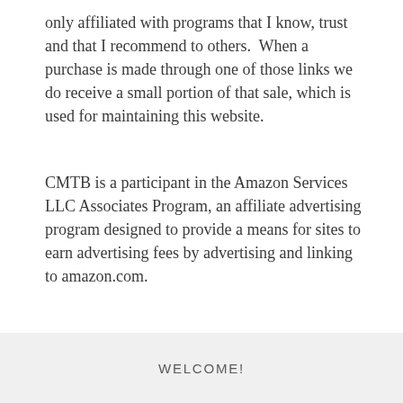only affiliated with programs that I know, trust and that I recommend to others.  When a purchase is made through one of those links we do receive a small portion of that sale, which is used for maintaining this website.
CMTB is a participant in the Amazon Services LLC Associates Program, an affiliate advertising program designed to provide a means for sites to earn advertising fees by advertising and linking to amazon.com.
WELCOME!